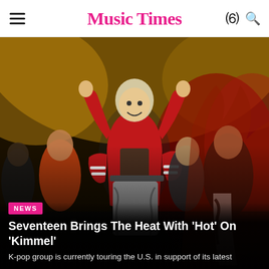Music Times
[Figure (photo): K-pop group Seventeen performing on stage at Jimmy Kimmel Live. The lead performer center-stage wears a red varsity jacket with arms raised, with other group members performing behind him. Stage lighting is warm gold/yellow with red accents.]
NEWS
Seventeen Brings The Heat With 'Hot' On 'Kimmel'
K-pop group is currently touring the U.S. in support of its latest